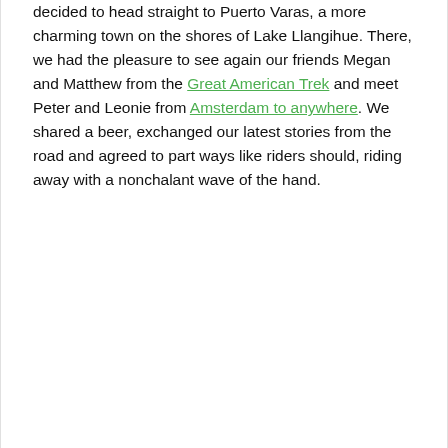decided to head straight to Puerto Varas, a more charming town on the shores of Lake Llangihue. There, we had the pleasure to see again our friends Megan and Matthew from the Great American Trek and meet Peter and Leonie from Amsterdam to anywhere. We shared a beer, exchanged our latest stories from the road and agreed to part ways like riders should, riding away with a nonchalant wave of the hand.
...